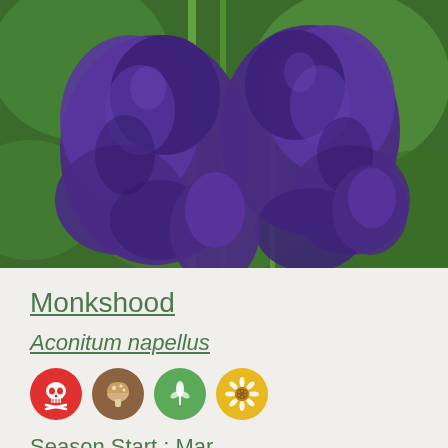[Figure (photo): Close-up photograph of Monkshood (Aconitum napellus) flowers — deep purple/violet helmet-shaped blooms on green stems with blurred green foliage background]
Monkshood
Aconitum napellus
[Figure (infographic): Row of four circular icons: red skull-and-crossbones (toxic), brown mushroom, green plant/leaf, yellow sunflower]
Season Start : Mar